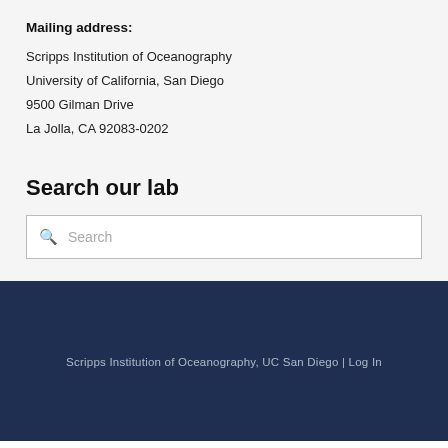Mailing address:
Scripps Institution of Oceanography
University of California, San Diego
9500 Gilman Drive
La Jolla, CA 92083-0202
Search our lab
Search
Scripps Institution of Oceanography, UC San Diego | Log In